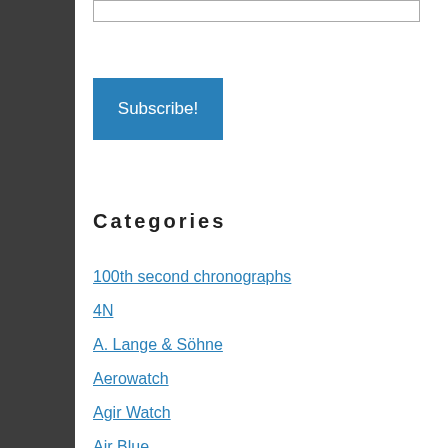[input box]
Subscribe!
Categories
100th second chronographs
4N
A. Lange & Söhne
Aerowatch
Agir Watch
Air Blue
Alpina
Angelus
Anonimo
Anura Rafael
Apple